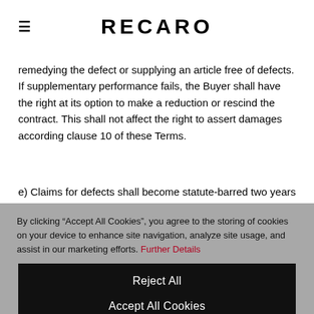RECARO
remedying the defect or supplying an article free of defects. If supplementary performance fails, the Buyer shall have the right at its option to make a reduction or rescind the contract. This shall not affect the right to assert damages according clause 10 of these Terms.
e) Claims for defects shall become statute-barred two years after the risk passes pursuant to clause 6 of these Terms. This shall not
By clicking "Accept All Cookies", you agree to the storing of cookies on your device to enhance site navigation, analyze site usage, and assist in our marketing efforts. Further Details
Cookies Settings
Reject All
Accept All Cookies